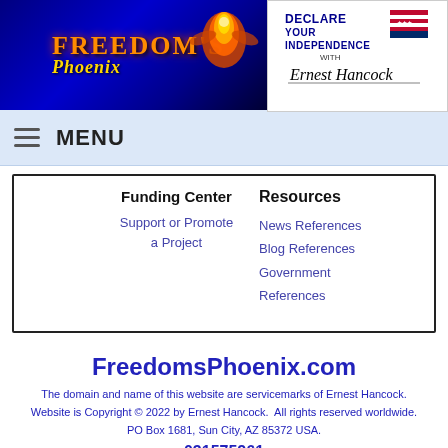[Figure (logo): Freedom's Phoenix logo with phoenix bird graphic on dark blue background with orange and gold text reading FREEDOM'S Phoenix]
[Figure (logo): Declare Your Independence with Ernest Hancock logo with US flag, bold blue text and handwritten signature]
MENU
Funding Center
Support or Promote a Project
Resources
News References
Blog References
Government References
FreedomsPhoenix.com
The domain and name of this website are servicemarks of Ernest Hancock.
Website is Copyright © 2022 by Ernest Hancock.  All rights reserved worldwide.
PO Box 1681, Sun City, AZ 85372 USA.
031575261
Stats by StatCounter